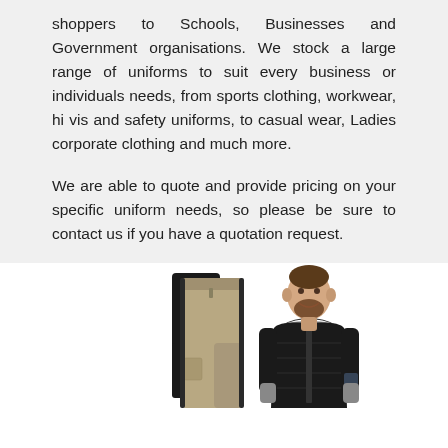shoppers to Schools, Businesses and Government organisations. We stock a large range of uniforms to suit every business or individuals needs, from sports clothing, workwear, hi vis and safety uniforms, to casual wear, Ladies corporate clothing and much more.

We are able to quote and provide pricing on your specific uniform needs, so please be sure to contact us if you have a quotation request.
[Figure (photo): Product photos showing workwear: a pair of khaki/tan work trousers with black trim and a man wearing a black quilted vest/gilet over a grey t-shirt]